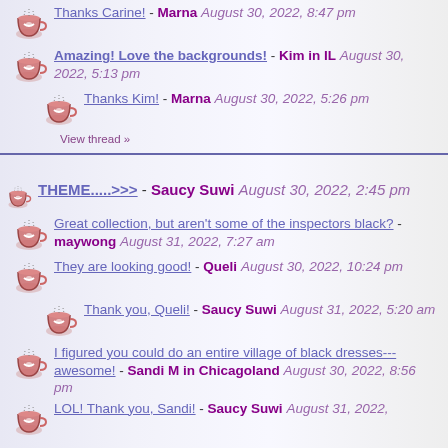Thanks Carine! - Marna August 30, 2022, 8:47 pm
Amazing! Love the backgrounds! - Kim in IL August 30, 2022, 5:13 pm
Thanks Kim! - Marna August 30, 2022, 5:26 pm
View thread »
THEME.....>>> - Saucy Suwi August 30, 2022, 2:45 pm
Great collection, but aren't some of the inspectors black? - maywong August 31, 2022, 7:27 am
They are looking good! - Queli August 30, 2022, 10:24 pm
Thank you, Queli! - Saucy Suwi August 31, 2022, 5:20 am
I figured you could do an entire village of black dresses--- awesome! - Sandi M in Chicagoland August 30, 2022, 8:56 pm
LOL! Thank you, Sandi! - Saucy Suwi August 31, 2022,